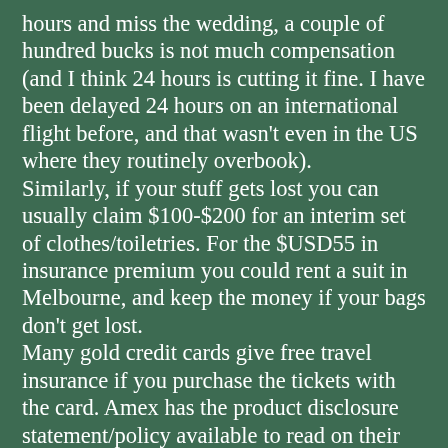hours and miss the wedding, a couple of hundred bucks is not much compensation (and I think 24 hours is cutting it fine. I have been delayed 24 hours on an international flight before, and that wasn't even in the US where they routinely overbook). Similarly, if your stuff gets lost you can usually claim $100-$200 for an interim set of clothes/toiletries. For the $USD55 in insurance premium you could rent a suit in Melbourne, and keep the money if your bags don't get lost. Many gold credit cards give free travel insurance if you purchase the tickets with the card. Amex has the product disclosure statement/policy available to read on their website, but basically, it will make an overseas medical disaster merely a severe trauma. If you pay more for third party coverage that might make the trauma only a major hassle, but if you travel frequently, and would be looking at $100+ for each two week trip, the free coverage might be enough to justify getting a card. Disclosure - I have seen the hassle for a relative to get